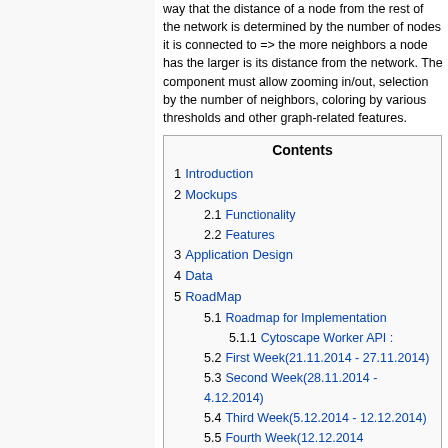way that the distance of a node from the rest of the network is determined by the number of nodes it is connected to => the more neighbors a node has the larger is its distance from the network. The component must allow zooming in/out, selection by the number of neighbors, coloring by various thresholds and other graph-related features.
| Contents |
| --- |
| 1 Introduction |
| 2 Mockups |
| 2.1 Functionality |
| 2.2 Features |
| 3 Application Design |
| 4 Data |
| 5 RoadMap |
| 5.1 Roadmap for Implementation |
| 5.1.1 Cytoscape Worker API : |
| 5.2 First Week(21.11.2014 - 27.11.2014) |
| 5.3 Second Week(28.11.2014 - 4.12.2014) |
| 5.4 Third Week(5.12.2014 - 12.12.2014) |
| 5.5 Fourth Week(12.12.2014 ... |